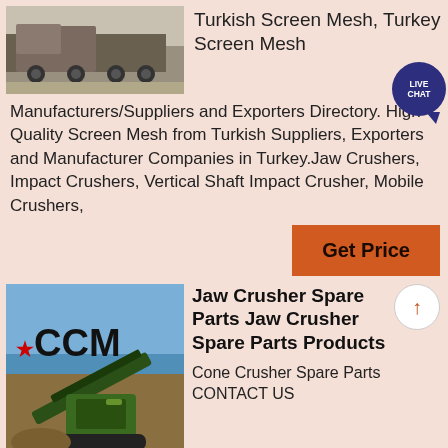[Figure (photo): A truck/vehicle loaded with equipment, side view, outdoors]
Turkish Screen Mesh, Turkey Screen Mesh
Manufacturers/Suppliers and Exporters Directory. High Quality Screen Mesh from Turkish Suppliers, Exporters and Manufacturer Companies in Turkey.Jaw Crushers, Impact Crushers, Vertical Shaft Impact Crusher, Mobile Crushers,
Get Price
[Figure (photo): CCM branded green conveyor/crusher machine in field, industrial mining equipment]
Jaw Crusher Spare Parts Jaw Crusher Spare Parts Products
Cone Crusher Spare Parts
CONTACT US